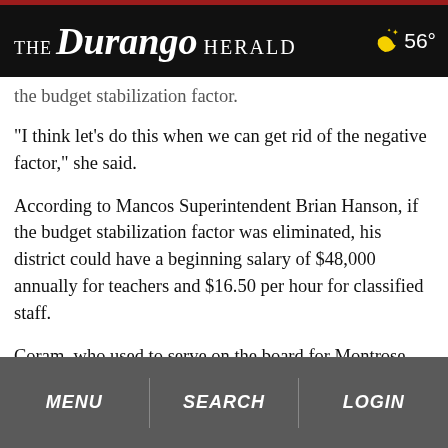THE Durango HERALD  56°
the budget stabilization factor.
“I think let’s do this when we can get rid of the negative factor,” she said.
According to Mancos Superintendent Brian Hanson, if the budget stabilization factor was eliminated, his district could have a beginning salary of $48,000 annually for teachers and $16.50 per hour for classified staff.
Coram, who used to serve on the board for Montrose County School District Re-1J, said he was at the forum
MENU   SEARCH   LOGIN